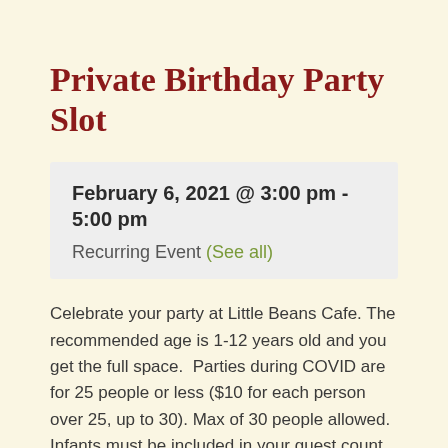Private Birthday Party Slot
February 6, 2021 @ 3:00 pm - 5:00 pm
Recurring Event (See all)
Celebrate your party at Little Beans Cafe. The recommended age is 1-12 years old and you get the full space.  Parties during COVID are for 25 people or less ($10 for each person over 25, up to 30). Max of 30 people allowed. Infants must be included in your guest count.
Private Party Timeslot options: